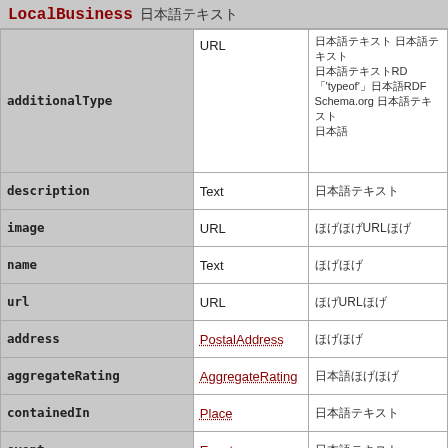LocalBusiness 日本語テキスト
| Property | Type | Description |
| --- | --- | --- |
| additionalType | URL | 日本語説明テキスト ほげほげほげほRDF
日本語テキストほげほげRDF
'typeof'ほげほげRDF
Schema.org 日本語テキスト
日本語 |
| description | Text | 日本語テキスト |
| image | URL | ほげほげURLほげ |
| name | Text | ほげほげ |
| url | URL | ほげURLほげ |
| address | PostalAddress | ほげほげ |
| aggregateRating | AggregateRating | 日本語ほげほげほげほげほ |
| containedIn | Place | 日本語テキストほ |
| event | Event | 日本語テキストほげほげほ |
| events | Event | 日本語テキストほげほげほ
event)※ |
| faxNumber | Text | ほげほ |